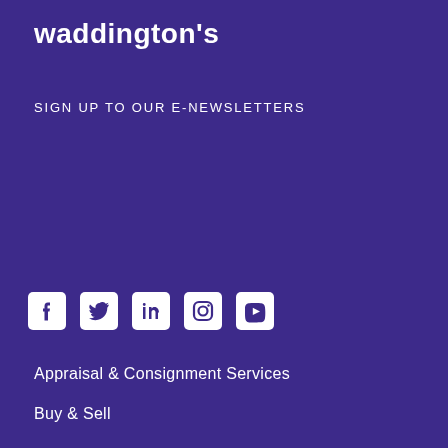waddington's
SIGN UP TO OUR E-NEWSLETTERS
[Figure (infographic): Row of social media icons: Facebook, Twitter, LinkedIn, Instagram, YouTube]
Appraisal & Consignment Services
Buy & Sell